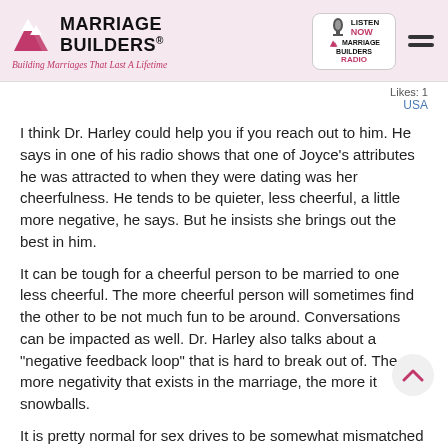[Figure (logo): Marriage Builders logo with red triangle arrows and tagline 'Building Marriages That Last A Lifetime']
[Figure (logo): Marriage Builders Radio 'Listen Now' box with microphone icon]
Likes: 1
USA
I think Dr. Harley could help you if you reach out to him. He says in one of his radio shows that one of Joyce's attributes he was attracted to when they were dating was her cheerfulness. He tends to be quieter, less cheerful, a little more negative, he says. But he insists she brings out the best in him.
It can be tough for a cheerful person to be married to one less cheerful. The more cheerful person will sometimes find the other to be not much fun to be around. Conversations can be impacted as well. Dr. Harley also talks about a "negative feedback loop" that is hard to break out of. The more negativity that exists in the marriage, the more it snowballs.
It is pretty normal for sex drives to be somewhat mismatched in marriage. Men have lots of testosterone while women have less